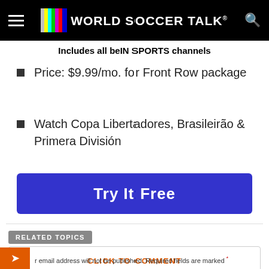World Soccer Talk
Includes all beIN SPORTS channels
Price: $9.99/mo. for Front Row package
Watch Copa Libertadores, Brasileirão & Primera División
Try It Free
RELATED TOPICS
CLICK TO COMMENT
email address will not be published. Required fields are marked *